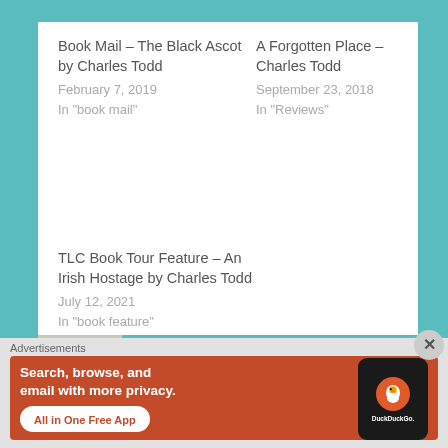Book Mail – The Black Ascot by Charles Todd
February 7, 2019
In "book mail"
A Forgotten Place – Charles Todd
September 23, 2018
In "Reviews"
TLC Book Tour Feature – An Irish Hostage by Charles Todd
July 12, 2021
In "book feature"
Published by
Advertisements
[Figure (infographic): DuckDuckGo advertisement banner: orange/red background with white bold text 'Search, browse, and email with more privacy.' and 'All in One Free App' button, plus a smartphone image with DuckDuckGo logo]